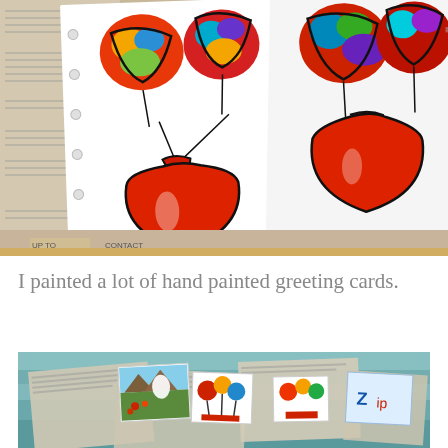[Figure (photo): Two hand-painted greeting cards showing colorful balloon-like abstract artwork over a large red vase, displayed against a newspaper background. Left card is on white paper, right card shown at slight angle.]
I painted a lot of hand painted greeting cards.
[Figure (photo): Multiple hand-painted greeting cards spread out on newspaper, showing various colorful paintings including landscapes, flowers, and abstract designs.]